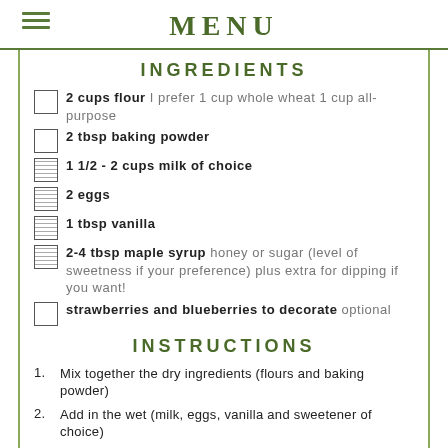MENU
INGREDIENTS
2 cups flour I prefer 1 cup whole wheat 1 cup all-purpose
2 tbsp baking powder
1 1/2 - 2 cups milk of choice
2 eggs
1 tbsp vanilla
2-4 tbsp maple syrup honey or sugar (level of sweetness if your preference) plus extra for dipping if you want!
strawberries and blueberries to decorate optional
INSTRUCTIONS
1. Mix together the dry ingredients (flours and baking powder)
2. Add in the wet (milk, eggs, vanilla and sweetener of choice)